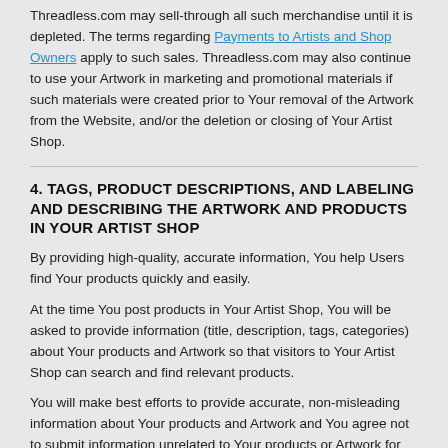Threadless.com may sell-through all such merchandise until it is depleted. The terms regarding Payments to Artists and Shop Owners apply to such sales. Threadless.com may also continue to use your Artwork in marketing and promotional materials if such materials were created prior to Your removal of the Artwork from the Website, and/or the deletion or closing of Your Artist Shop.
4. TAGS, PRODUCT DESCRIPTIONS, AND LABELING AND DESCRIBING THE ARTWORK AND PRODUCTS IN YOUR ARTIST SHOP
By providing high-quality, accurate information, You help Users find Your products quickly and easily.
At the time You post products in Your Artist Shop, You will be asked to provide information (title, description, tags, categories) about Your products and Artwork so that visitors to Your Artist Shop can search and find relevant products.
You will make best efforts to provide accurate, non-misleading information about Your products and Artwork and You agree not to submit information unrelated to Your products or Artwork for any purpose. If Threadless.com determines that information is misleading or inaccurate or that it violates these Terms of Use, Threadless.com may inform you to delete such